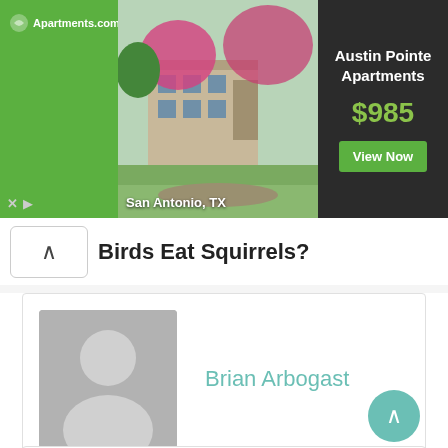[Figure (screenshot): Advertisement banner for Austin Pointe Apartments on Apartments.com. Green left section with logo, center photo of apartment building in San Antonio TX with flowering trees, dark right section with apartment name, price $985, and View Now button.]
Birds Eat Squirrels?
[Figure (photo): Default grey avatar placeholder showing silhouette of a person with head and shoulders.]
Brian Arbogast
Previous Post
Next Post
< How To Stop Squirrels From
How Big Do Hip Dogs Get? >